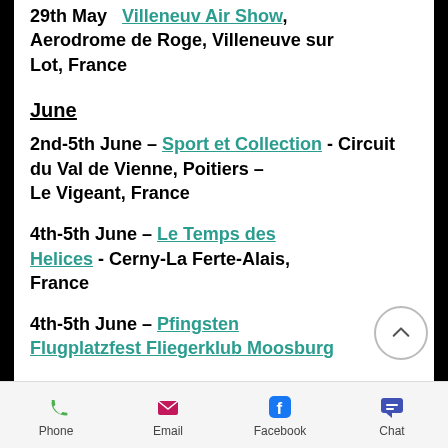29th May – Villeneuv Air Show, Aerodrome de Roge, Villeneuve sur Lot, France
June
2nd-5th June – Sport et Collection - Circuit du Val de Vienne, Poitiers – Le Vigeant, France
4th-5th June – Le Temps des Helices - Cerny-La Ferte-Alais, France
4th-5th June – Pfingsten Flugplatzfest Fliegerklub Moosburg
Phone  Email  Facebook  Chat